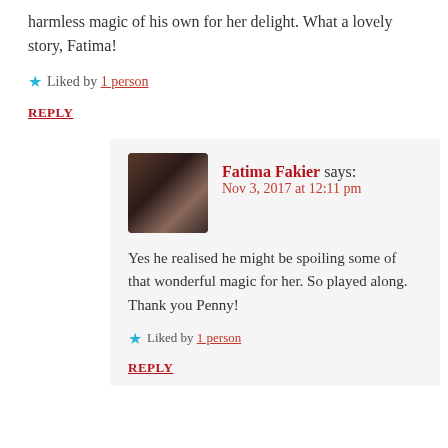harmless magic of his own for her delight. What a lovely story, Fatima!
Liked by 1 person
REPLY
Fatima Fakier says: Nov 3, 2017 at 12:11 pm
Yes he realised he might be spoiling some of that wonderful magic for her. So played along. Thank you Penny!
Liked by 1 person
REPLY